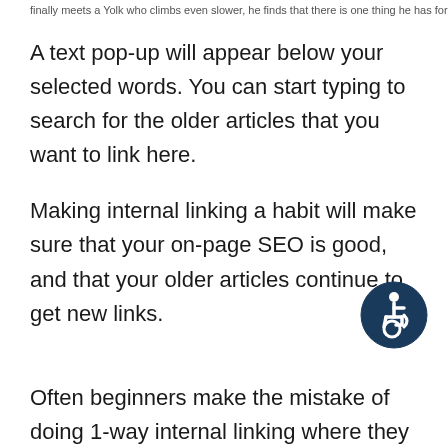finally meets a Yolk who climbs even slower, he finds that there is one thing he has for
A text pop-up will appear below your selected words. You can start typing to search for the older articles that you want to link here.
Making internal linking a habit will make sure that your on-page SEO is good, and that your older articles continue to get new links.
[Figure (illustration): Accessibility icon — circular dark navy badge with a stylized person on a wheelchair, white on dark blue background]
Often beginners make the mistake of doing 1-way internal linking where they link to older posts from new articles. You can and should also go back to edit older posts to link to your new articles for maximum benefits.
5. Add Images and Videos to Your Blog Posts